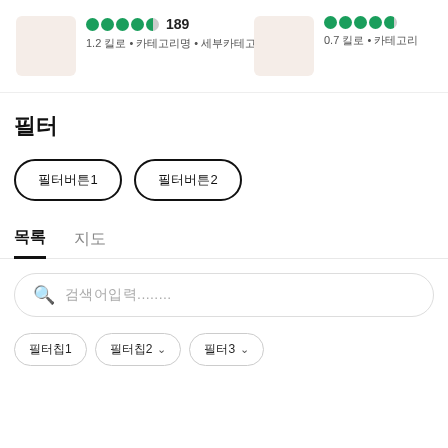[Figure (screenshot): Top card strip showing two business listings with green star ratings, review counts, and distance/category metadata. First listing: 4.5 stars, 189 reviews, 1.2 km away. Second listing (partially visible): ~4.5 stars, 0.7 km away.]
필터
필터버튼1  필터버튼2
목록  지도 (tab bar)
검색어입력......
필터칩1  필터칩2 ∨  필터3 ∨